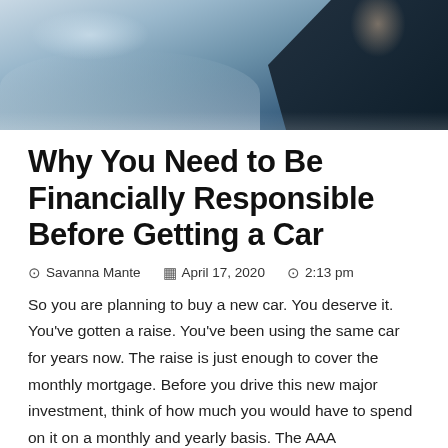[Figure (photo): Photo of a person in a dark suit, blurred background with light/office tones]
Why You Need to Be Financially Responsible Before Getting a Car
Savanna Mante   April 17, 2020   2:13 pm
So you are planning to buy a new car. You deserve it. You've gotten a raise. You've been using the same car for years now. The raise is just enough to cover the monthly mortgage. Before you drive this new major investment, think of how much you would have to spend on it on a monthly and yearly basis. The AAA estimates that people spend an average of $9,282 a year on their